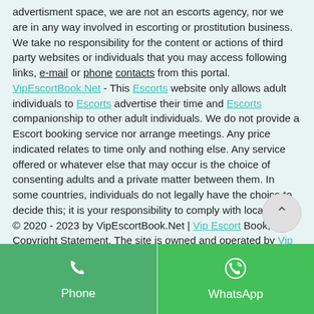advertisment space, we are not an escorts agency, nor we are in any way involved in escorting or prostitution business. We take no responsibility for the content or actions of third party websites or individuals that you may access following links, e-mail or phone contacts from this portal. VipEscortBook.Net - This Escorts website only allows adult individuals to Escorts advertise their time and Escorts companionship to other adult individuals. We do not provide a Escort booking service nor arrange meetings. Any price indicated relates to time only and nothing else. Any service offered or whatever else that may occur is the choice of consenting adults and a private matter between them. In some countries, individuals do not legally have the choice to decide this; it is your responsibility to comply with local laws. © 2020 - 2023 by VipEscortBook.Net | Vip Escort Book, Copyright Statement, The site is owned and operated by Vip Escort Travel Escort Girls İstanbul Escorts İncall and Outcall Escort Services, İstanbul, Turkey | All Rights Reserved! VipEscortBook.Net - Website & Agreemen - Mobile Version - VipEscortBook.Net